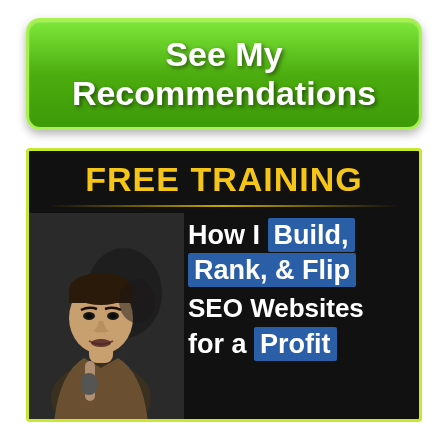[Figure (other): Green rounded button with white bold text reading 'See My Recommendations']
[Figure (infographic): Dark banner with yellow-green border. Top shows 'FREE TRAINING' in gold/yellow bold text with gold underline. Below: photo of a man speaking into a microphone on the left, and white bold text on right reading 'How I Build, Rank, & Flip SEO Websites for a Profit' with blue highlight backgrounds on 'Build,' 'Rank, & Flip' and 'Profit']